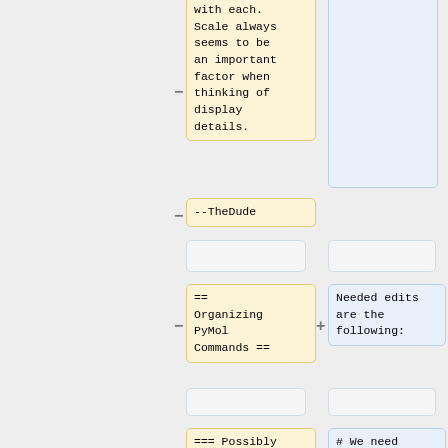with each. Scale always seems to be an important factor when thinking of display details.
--TheDude
== Organizing PyMol Commands ==
Needed edits are the following:
=== Possibly Deprecated: Need Feedback ===
# We need more thorough "See Also"